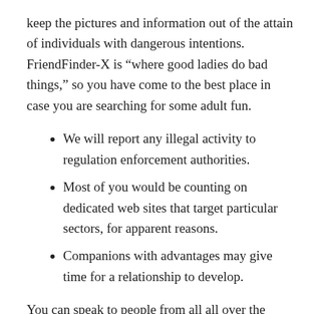keep the pictures and information out of the attain of individuals with dangerous intentions. FriendFinder-X is “where good ladies do bad things,” so you have come to the best place in case you are searching for some adult fun.
We will report any illegal activity to regulation enforcement authorities.
Most of you would be counting on dedicated web sites that target particular sectors, for apparent reasons.
Companions with advantages may give time for a relationship to develop.
You can speak to people from all all over the world about anything that you actually want. If you’re passionate a few subject, you can all the time find someone else who’s into it. Just since you can’t speak about it in public doesn’t mean that you can’t talk about it in non-public. If you actually want to ramp issues up, you presumably can bring your webcam into the